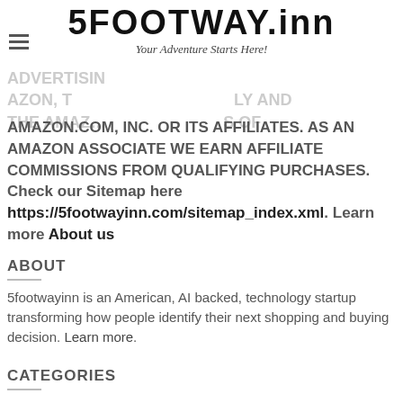5FOOTWAY.inn — Your Adventure Starts Here!
ADVERTISIN... AMAZON, T... BY AND THE AMAZON... TRADEMARKS OF AMAZON.COM, INC. OR ITS AFFILIATES. AS AN AMAZON ASSOCIATE WE EARN AFFILIATE COMMISSIONS FROM QUALIFYING PURCHASES. Check our Sitemap here https://5footwayinn.com/sitemap_index.xml. Learn more About us
ABOUT
5footwayinn is an American, AI backed, technology startup transforming how people identify their next shopping and buying decision. Learn more.
CATEGORIES